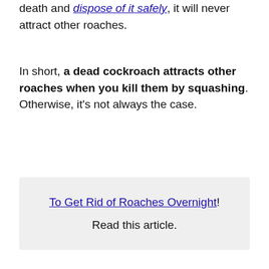death and dispose of it safely, it will never attract other roaches.
In short, a dead cockroach attracts other roaches when you kill them by squashing. Otherwise, it’s not always the case.
To Get Rid of Roaches Overnight! Read this article.